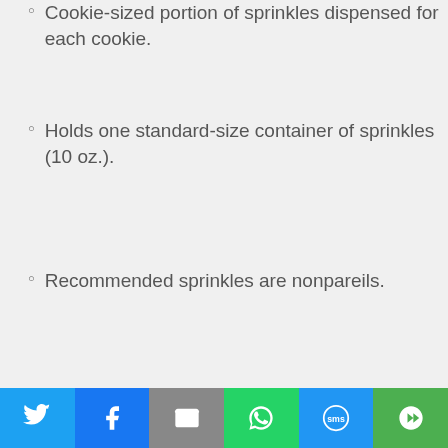Cookie-sized portion of sprinkles dispensed for each cookie.
Holds one standard-size container of sprinkles (10 oz.).
Recommended sprinkles are nonpareils.
Sprinkles not included.
Twitter | Facebook | Email | WhatsApp | SMS | More